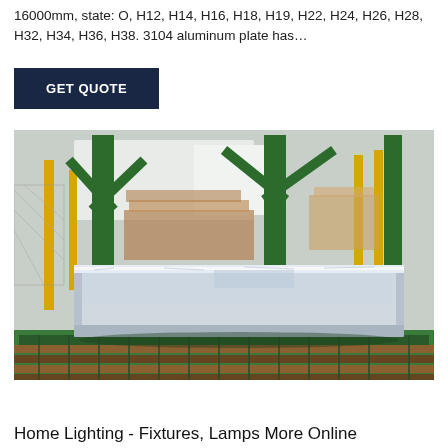16000mm, state: O, H12, H14, H16, H18, H19, H22, H24, H26, H28, H32, H34, H36, H38. 3104 aluminum plate has…
GET QUOTE
[Figure (photo): A large aluminum plate or slab wrapped in clear plastic/protective film, sitting on a green roller conveyor inside an industrial warehouse or factory. Green steel structural columns and yellow safety posts are visible in the background, along with stacks of materials.]
Home Lighting - Fixtures, Lamps More Online